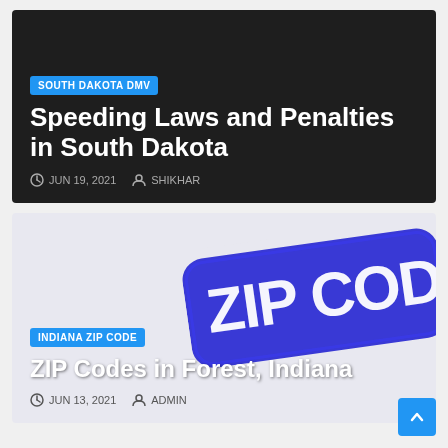[Figure (screenshot): Dark card background for South Dakota DMV article]
SOUTH DAKOTA DMV
Speeding Laws and Penalties in South Dakota
JUN 19, 2021   SHIKHAR
[Figure (screenshot): Light card with ZIP CODE rubber stamp graphic for Indiana article]
INDIANA ZIP CODE
ZIP Codes in Forest, Indiana
JUN 13, 2021   ADMIN